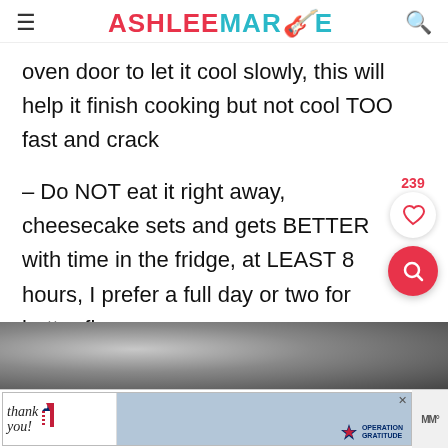ASHLEE MARIE
oven door to let it cool slowly, this will help it finish cooking but not cool TOO fast and crack
– Do NOT eat it right away, cheesecake sets and gets BETTER with time in the fridge, at LEAST 8 hours, I prefer a full day or two for better flavor.
[Figure (photo): Bottom portion of a food image, partially visible, dark tones]
[Figure (photo): Advertisement banner: Thank you note with American flag imagery and Operation Gratitude logo with firefighters]